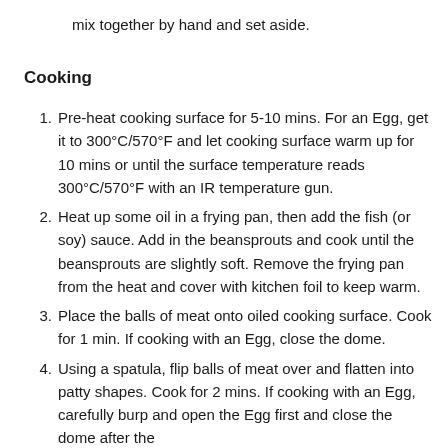mix together by hand and set aside.
Cooking
Pre-heat cooking surface for 5-10 mins. For an Egg, get it to 300°C/570°F and let cooking surface warm up for 10 mins or until the surface temperature reads 300°C/570°F with an IR temperature gun.
Heat up some oil in a frying pan, then add the fish (or soy) sauce. Add in the beansprouts and cook until the beansprouts are slightly soft. Remove the frying pan from the heat and cover with kitchen foil to keep warm.
Place the balls of meat onto oiled cooking surface. Cook for 1 min. If cooking with an Egg, close the dome.
Using a spatula, flip balls of meat over and flatten into patty shapes. Cook for 2 mins. If cooking with an Egg, carefully burp and open the Egg first and close the dome after the